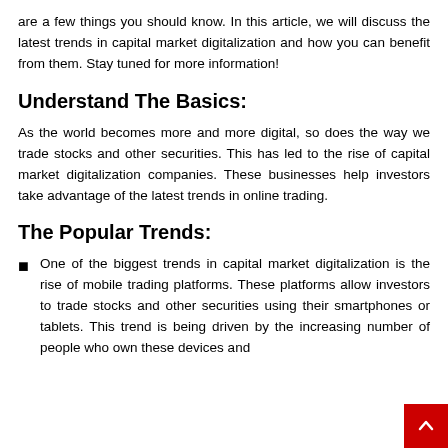are a few things you should know. In this article, we will discuss the latest trends in capital market digitalization and how you can benefit from them. Stay tuned for more information!
Understand The Basics:
As the world becomes more and more digital, so does the way we trade stocks and other securities. This has led to the rise of capital market digitalization companies. These businesses help investors take advantage of the latest trends in online trading.
The Popular Trends:
One of the biggest trends in capital market digitalization is the rise of mobile trading platforms. These platforms allow investors to trade stocks and other securities using their smartphones or tablets. This trend is being driven by the increasing number of people who own these devices and